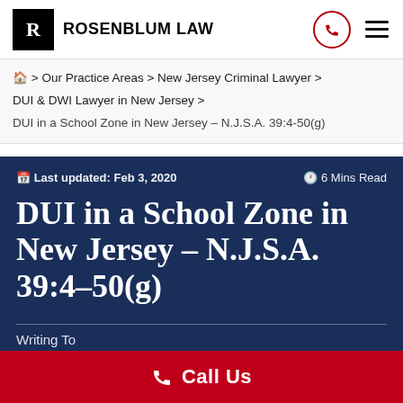ROSENBLUM LAW
⌂ > Our Practice Areas > New Jersey Criminal Lawyer > DUI & DWI Lawyer in New Jersey > DUI in a School Zone in New Jersey – N.J.S.A. 39:4-50(g)
Last updated: Feb 3, 2020 | 6 Mins Read
DUI in a School Zone in New Jersey – N.J.S.A. 39:4-50(g)
Writing To